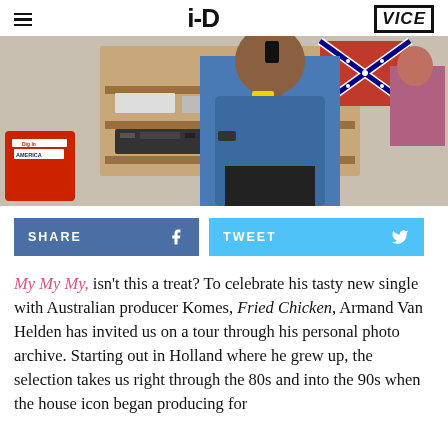i-D | VICE
[Figure (photo): A person in a blue shirt taking a selfie in a room with audio equipment, shelving, and a Confederate flag on the wall. A red container labeled 'Dig In America' is visible on the left.]
SHARE
TWEET
My My My, isn't this a treat? To celebrate his tasty new single with Australian producer Komes, Fried Chicken, Armand Van Helden has invited us on a tour through his personal photo archive. Starting out in Holland where he grew up, the selection takes us right through the 80s and into the 90s when the house icon began producing for